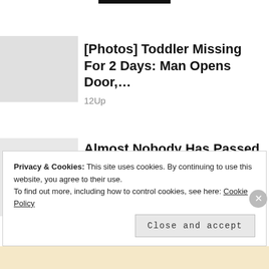[Figure (other): Black bar / logo placeholder at top center]
[Photos] Toddler Missing For 2 Days: Man Opens Door,…
12Up
Almost Nobody Has Passed This Classic Logo Quiz
WarpedSpeed
Privacy & Cookies: This site uses cookies. By continuing to use this website, you agree to their use.
To find out more, including how to control cookies, see here: Cookie Policy
Close and accept